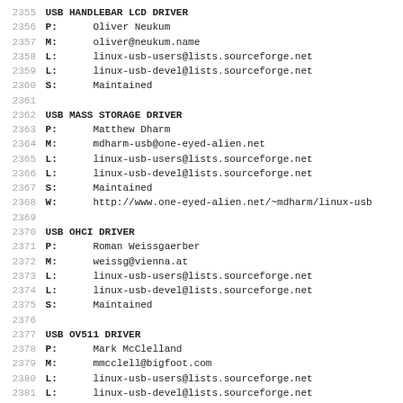2355 USB HANDLEBAR LCD DRIVER (partial, top cut off)
2356 P:  Oliver Neukum
2357 M:  oliver@neukum.name
2358 L:  linux-usb-users@lists.sourceforge.net
2359 L:  linux-usb-devel@lists.sourceforge.net
2360 S:  Maintained
2362 USB MASS STORAGE DRIVER
2363 P:  Matthew Dharm
2364 M:  mdharm-usb@one-eyed-alien.net
2365 L:  linux-usb-users@lists.sourceforge.net
2366 L:  linux-usb-devel@lists.sourceforge.net
2367 S:  Maintained
2368 W:  http://www.one-eyed-alien.net/~mdharm/linux-usb
2370 USB OHCI DRIVER
2371 P:  Roman Weissgaerber
2372 M:  weissg@vienna.at
2373 L:  linux-usb-users@lists.sourceforge.net
2374 L:  linux-usb-devel@lists.sourceforge.net
2375 S:  Maintained
2377 USB OV511 DRIVER
2378 P:  Mark McClelland
2379 M:  mmcclell@bigfoot.com
2380 L:  linux-usb-users@lists.sourceforge.net
2381 L:  linux-usb-devel@lists.sourceforge.net
2382 W:  http://alpha.dyndns.org/ov511/
2383 S:  Maintained
2385 USB PEGASUS DRIVER
2386 P:  Petko Manolov
2387 M:  petkan@users.sourceforge.net